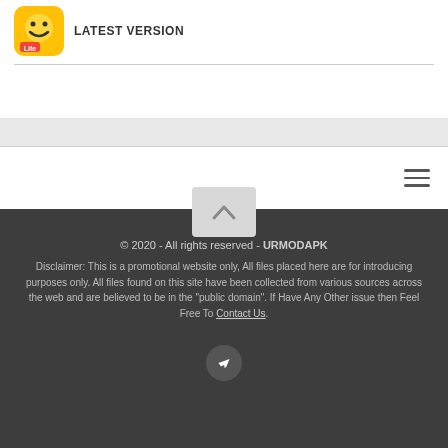[Figure (logo): Yellow app icon with smiley face and 'Lite' badge]
LATEST VERSION
© 2020 - All rights reserved - URMODAPK
Disclaimer: This is a promotional website only, All files placed here are for introducing purposes only. All files found on this site have been collected from various sources across the web and are believed to be in the "public domain". If Have Any Other issue then Feel Free To Contact Us.